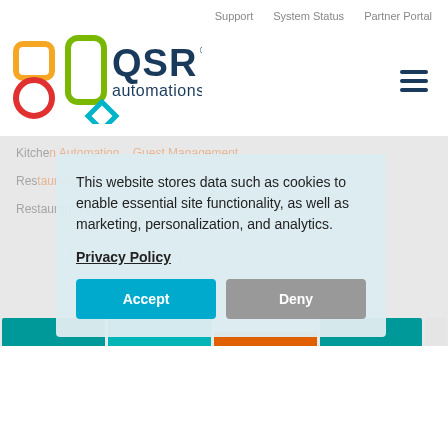Support   System Status   Partner Portal
[Figure (logo): QSR Automations logo with colorful square icons and teal diamond]
This website stores data such as cookies to enable essential site functionality, as well as marketing, personalization, and analytics.
Privacy Policy
Accept
Deny